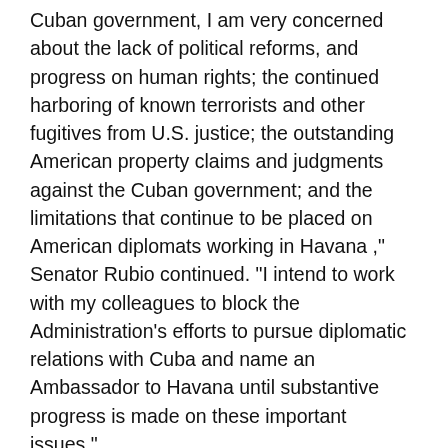Cuban government, I am very concerned about the lack of political reforms, and progress on human rights; the continued harboring of known terrorists and other fugitives from U.S. justice; the outstanding American property claims and judgments against the Cuban government; and the limitations that continue to be placed on American diplomats working in Havana ," Senator Rubio continued. "I intend to work with my colleagues to block the Administration's efforts to pursue diplomatic relations with Cuba and name an Ambassador to Havana until substantive progress is made on these important issues."
A PDF of Senator Rubio's letter is available here.
It remains to be seen whether House Republicans can derail the White House from quickly restoring full diplomatic relations with Cuba. The appropriations legislation which only addresses funding still must be